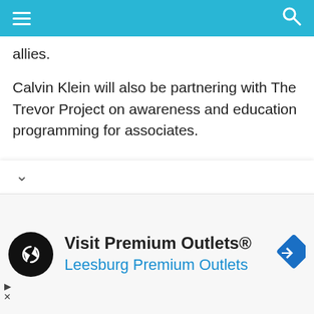≡  [navigation bar with search icon]
allies.
Calvin Klein will also be partnering with The Trevor Project on awareness and education programming for associates.
Marketplace
In celebration of LGBTQIA+ advocacy and equality, Calvin Klein is launching #proudinmycalvins. The campaign, which revisits the defining moments in the queer journey, will rollout throughout the year alongside additional #proudinmycalvins
[Figure (infographic): Advertisement banner for Visit Premium Outlets® / Leesburg Premium Outlets with black circular logo containing a white looping arrows icon, and a blue navigation road sign icon on the right.]